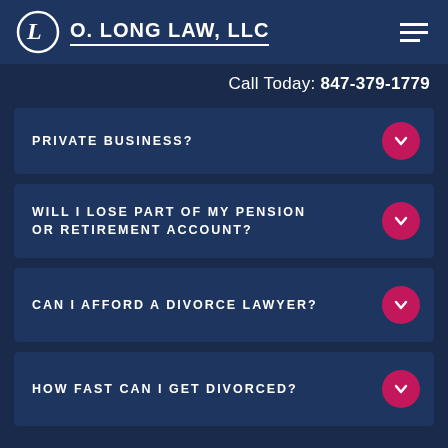O. LONG LAW, LLC
Call Today: 847-379-1779
PRIVATE BUSINESS?
WILL I LOSE PART OF MY PENSION OR RETIREMENT ACCOUNT?
CAN I AFFORD A DIVORCE LAWYER?
HOW FAST CAN I GET DIVORCED?